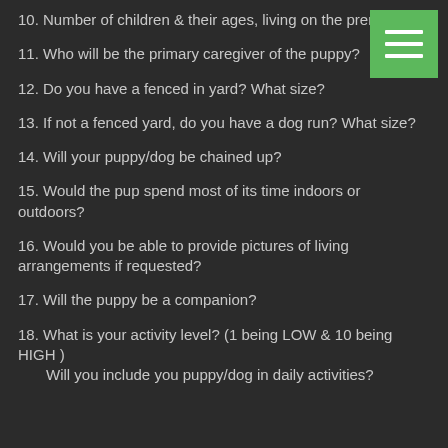10. Number of children & their ages, living on the premises?
11. Who will be the primary caregiver of the puppy?
12. Do you have a fenced in yard? What size?
13. If not a fenced yard, do you have a dog run? What size?
14. Will your puppy/dog be chained up?
15. Would the pup spend most of its time indoors or outdoors?
16. Would you be able to provide pictures of living arrangements if requested?
17. Will the puppy be a companion?
18. What is your activity level? (1 being LOW & 10 being HIGH )
Will you include you puppy/dog in daily activities?